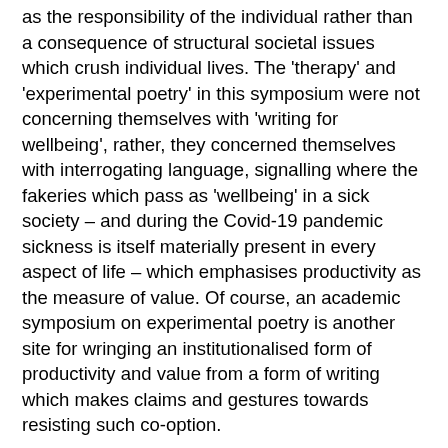as the responsibility of the individual rather than a consequence of structural societal issues which crush individual lives. The 'therapy' and 'experimental poetry' in this symposium were not concerning themselves with 'writing for wellbeing', rather, they concerned themselves with interrogating language, signalling where the fakeries which pass as 'wellbeing' in a sick society – and during the Covid-19 pandemic sickness is itself materially present in every aspect of life – which emphasises productivity as the measure of value. Of course, an academic symposium on experimental poetry is another site for wringing an institutionalised form of productivity and value from a form of writing which makes claims and gestures towards resisting such co-option.
The symposium took place at Birkbeck, University of London, a well-known node on the experimental poetry 'scene', especially for those fortunate enough – or otherwise – to be based in London. Situating a practice in an academic building positions that practice in relation to the academy. Housing a symposium which presents a consideration of 'therapy' and 'experimental poetry' in an